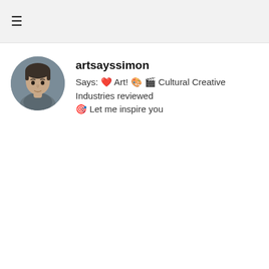≡
artsayssimon
Says: ❤ Art! 🎨 🎬 Cultural Creative Industries reviewed 🎯 Let me inspire you